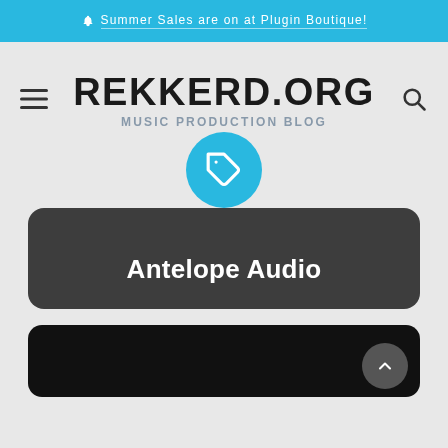🔔 Summer Sales are on at Plugin Boutique!
REKKERD.ORG
MUSIC PRODUCTION BLOG
Antelope Audio
[Figure (screenshot): Dark black image area at the bottom of the page, partially visible with a scroll-to-top arrow button in a circle on the right side]